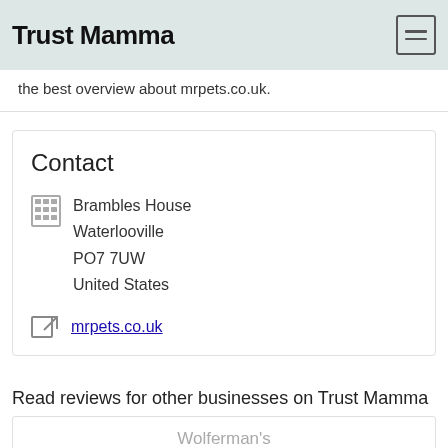Trust Mamma
the best overview about mrpets.co.uk.
Contact
Brambles House
Waterlooville
PO7 7UW
United States
mrpets.co.uk
Read reviews for other businesses on Trust Mamma
Wolferman's
WorldofWatches